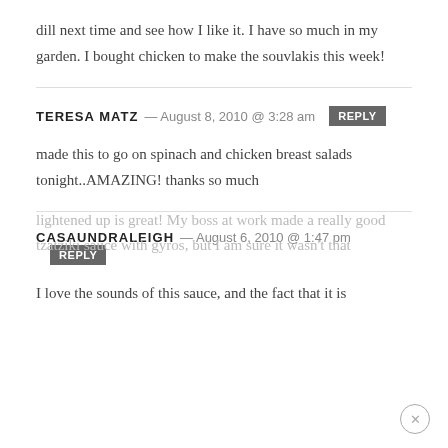dill next time and see how I like it. I have so much in my garden. I bought chicken to make the souvlakis this week!
TERESA MATZ — August 8, 2010 @ 3:28 am  REPLY
made this to go on spinach and chicken breast salads tonight..AMAZING! thanks so much
CASAUNDRALEIGH — August 6, 2010 @ 1:47 pm  REPLY
I love the sounds of this sauce, and the fact that it is
lightened up is great! My boss at work made a really good tzatziki sauce with gyros, but I am sure it wasn't that